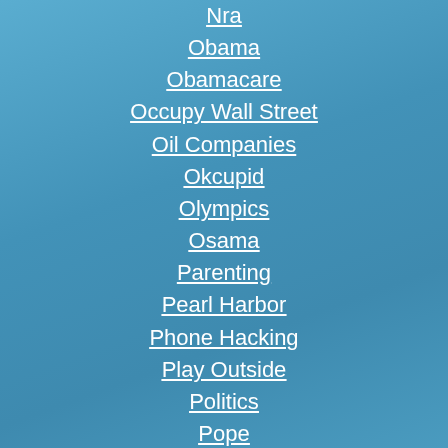Nra
Obama
Obamacare
Occupy Wall Street
Oil Companies
Okcupid
Olympics
Osama
Parenting
Pearl Harbor
Phone Hacking
Play Outside
Politics
Pope
Porn
Prince
Putin
Quaddafi
Racist
Rapture
Reality Tv
Reese Witherspoon